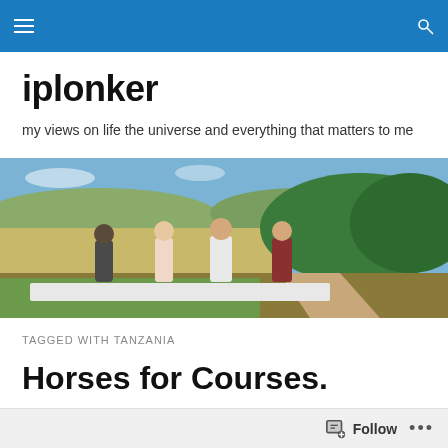iplonker blog navigation header with menu and search icons
iplonker
my views on life the universe and everything that matters to me
[Figure (photo): Group of four people standing outdoors at a table set for dining, with open savannah landscape and trees in the background under a blue sky.]
TAGGED WITH TANZANIA
Horses for Courses.
Follow  ...